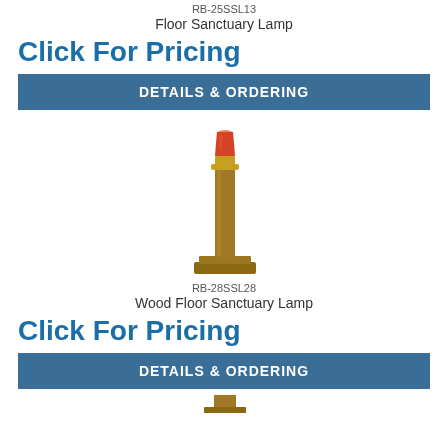RB-25SSL13
Floor Sanctuary Lamp
Click For Pricing
DETAILS & ORDERING
[Figure (photo): Wood floor sanctuary lamp with tall wooden column post, brass fitting at top holding a red glass votive cup, on a square wooden base.]
RB-28SSL28
Wood Floor Sanctuary Lamp
Click For Pricing
DETAILS & ORDERING
[Figure (photo): Partial view of another sanctuary lamp at the bottom of the page.]